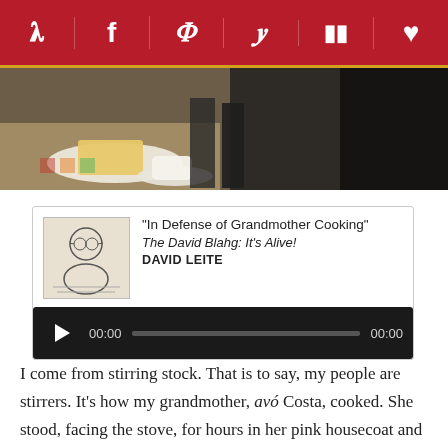[Figure (other): Social sharing toolbar with Pinterest, Facebook, Twitter, Yummly, Flipboard, and heart/favorite icons on dark red background with gold bottom border]
[Figure (photo): Overhead photo of a kitchen scene with toast on a plate, a teacup, and someone's legs/feet visible]
[Figure (other): Audio player card with thumbnail illustration of person, title 'In Defense of Grandmother Cooking', subtitle 'The David Blahg: It's Alive!', author 'DAVID LEITE', and playback controls showing 00:00 / 00:00]
I come from stirring stock. That is to say, my people are stirrers. It's how my grandmother, avó Costa, cooked. She stood, facing the stove, for hours in her pink housecoat and pink slippers, her tiny hand planted on her hip, singing in her thin, reedy voice. She stirred all kinds of Portuguese